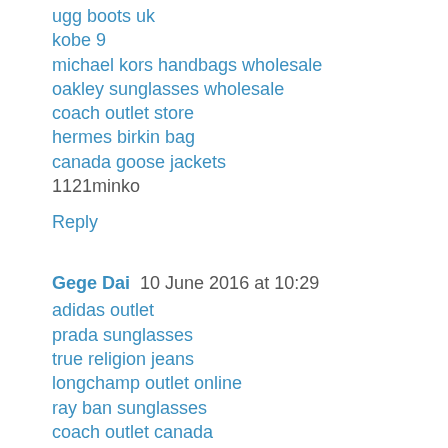ugg boots uk
kobe 9
michael kors handbags wholesale
oakley sunglasses wholesale
coach outlet store
hermes birkin bag
canada goose jackets
1121minko
Reply
Gege Dai  10 June 2016 at 10:29
adidas outlet
prada sunglasses
true religion jeans
longchamp outlet online
ray ban sunglasses
coach outlet canada
jordan pas cher
michael kors handbags
true religion jeans sale